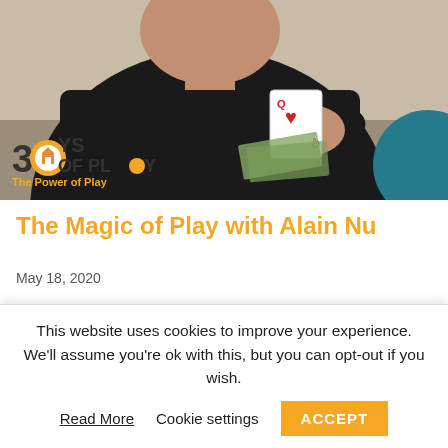[Figure (photo): Man in black outfit leaning over a table holding playing cards including a Queen of Hearts, with a 30 Days of Play logo overlay in the bottom left]
The Magic of Play with Alain Nu
May 18, 2020
We all love magic. From a very early age we are drawn to what we don't understand. We want to discover the
This website uses cookies to improve your experience. We'll assume you're ok with this, but you can opt-out if you wish.
Read More   Cookie settings   ACCEPT